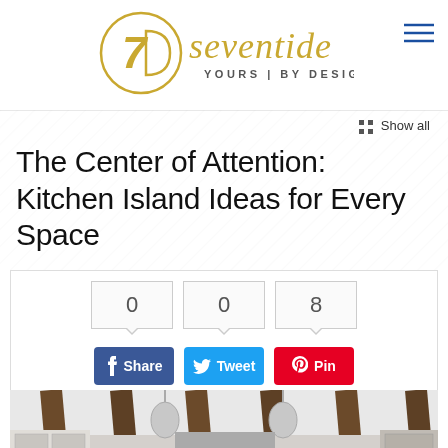[Figure (logo): Seventide logo with circular 7D monogram in gold and 'seventide YOURS | BY DESIGN' text]
Show all
The Center of Attention: Kitchen Island Ideas for Every Space
[Figure (infographic): Social share box with count boxes showing 0, 0, 8 and Share (Facebook), Tweet (Twitter), Pin (Pinterest) buttons]
[Figure (photo): Kitchen interior with dark wood ceiling beams, white walls, and pendant lights above a kitchen island]